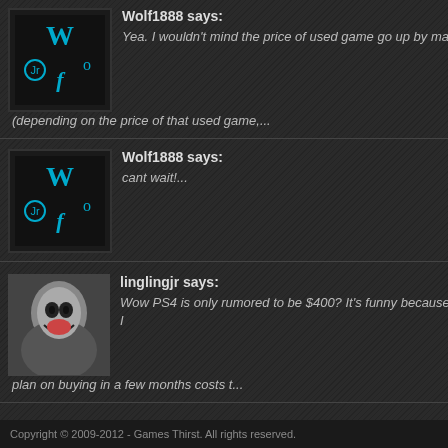Wolf1888 says: Yea. I wouldn't mind the price of used game go up by maybe 10 bucks (depending on the price of that used game,...
Wolf1888 says: cant wait!...
linglingjr says: Wow PS4 is only rumored to be $400? It's funny because the video card I plan on buying in a few months costs t...
Killzone 4 To Launch Alongside PS4 In 2013 (6)
First Batch Of Metal Gear Rising: Revengeance Reviews Arrive (6)
David Cage Says Beyond Two Souls Is Now In Beta, Release Date Coming Soon (5)
Aliens: Colonial Marines Reviews Are In – Cancel Your Preorder, Don't Buy (5)
Bioware Does Not Want You To Call The Next ME Mass Effect 4 (4)
Copyright © 2009-2012 - Games Thirst. All rights reserved.